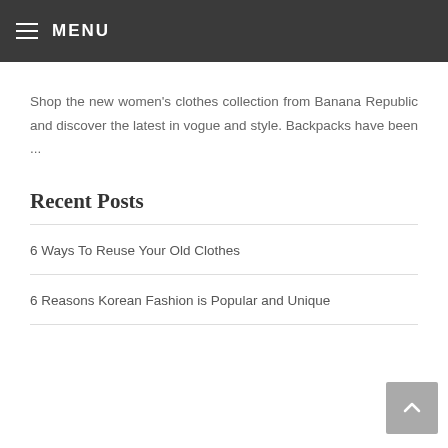≡ MENU
Shop the new women's clothes collection from Banana Republic and discover the latest in vogue and style. Backpacks have been ...
Recent Posts
6 Ways To Reuse Your Old Clothes
6 Reasons Korean Fashion is Popular and Unique